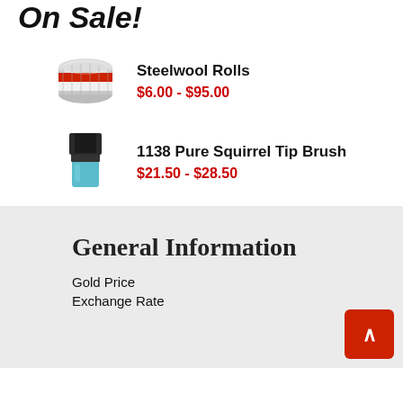On Sale!
Steelwool Rolls
$6.00 - $95.00
[Figure (photo): Steelwool Rolls product image — cylindrical roll of steel wool with red and white label]
1138 Pure Squirrel Tip Brush
$21.50 - $28.50
[Figure (photo): 1138 Pure Squirrel Tip Brush product image — brush with dark bristles and turquoise blue handle]
General Information
Gold Price
Exchange Rate